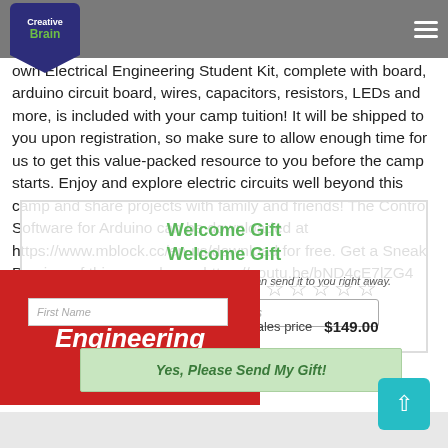Creative Brain logo and navigation bar
own Electrical Engineering Student Kit, complete with board, arduino circuit board, wires, capacitors, resistors, LEDs and more, is included with your camp tuition! It will be shipped to you upon registration, so make sure to allow enough time for us to get this value-packed resource to you before the camp starts. Enjoy and explore electric circuits well beyond this camp and share projects with family and friends! The Control Software for Arduino can be downloaded at https://www.mblock.cc/en-us/download for free. Get a Sneak Preview of this camp here:  https://youtu.be/bND4cE7lZG4
[Figure (screenshot): Welcome Gift popup overlay with email field, first name field, star ratings, sales price $149.00, and green button 'Yes, Please Send My Gift!']
[Figure (infographic): Red banner with white bold italic text: Electrical Engineering Camp]
Back to top button (teal)